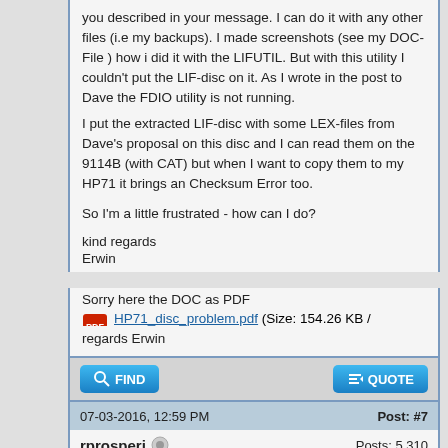you described in your message. I can do it with any other files (i.e my backups). I made screenshots (see my DOC-File ) how i did it with the LIFUTIL. But with this utility I couldn't put the LIF-disc on it. As I wrote in the post to Dave the FDIO utility is not running.
I put the extracted LIF-disc with some LEX-files from Dave's proposal on this disc and I can read them on the 9114B (with CAT) but when I want to copy them to my HP71 it brings an Checksum Error too.

So I'm a little frustrated - how can I do?

kind regards
Erwin
Sorry here the DOC as PDF
HP71_disc_problem.pdf (Size: 154.26 KB / Downloads: 20)
regards Erwin
07-03-2016, 12:59 PM
Post: #7
rprosperi
Posts: 5,310